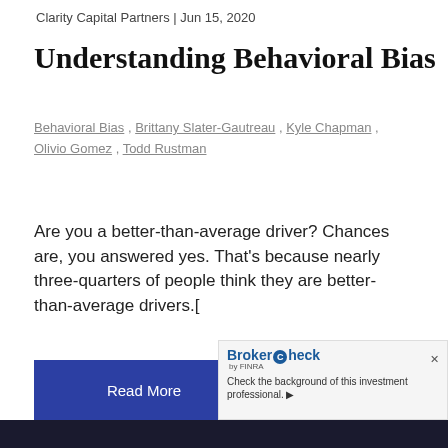Clarity Capital Partners | Jun 15, 2020
Understanding Behavioral Bias
Behavioral Bias , Brittany Slater-Gautreau , Kyle Chapman , Olivio Gomez , Todd Rustman
Are you a better-than-average driver? Chances are, you answered yes. That's because nearly three-quarters of people think they are better-than-average drivers.[
Read More
[Figure (logo): BrokerCheck by FINRA logo with text: Check the background of this investment professional.]